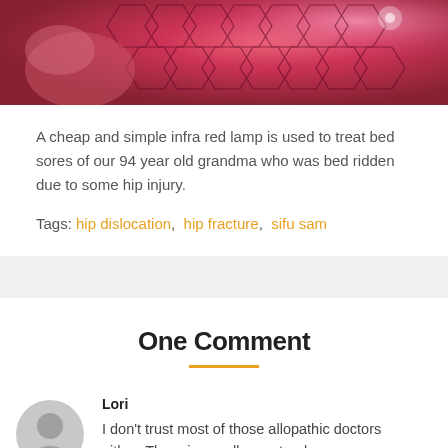[Figure (photo): Red-lit infra red lamp being used on patient, hexagonal pattern visible in background]
A cheap and simple infra red lamp is used to treat bed sores of our 94 year old grandma who was bed ridden due to some hip injury.
Tags: hip dislocation, hip fracture, sifu sam
One Comment
Lori
I don't trust most of those allopathic doctors either. There is usually a natural